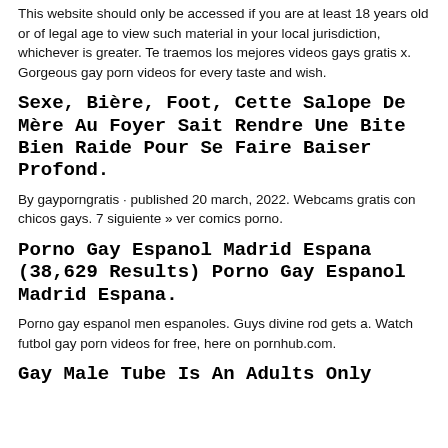This website should only be accessed if you are at least 18 years old or of legal age to view such material in your local jurisdiction, whichever is greater. Te traemos los mejores videos gays gratis x. Gorgeous gay porn videos for every taste and wish.
Sexe, Bière, Foot, Cette Salope De Mère Au Foyer Sait Rendre Une Bite Bien Raide Pour Se Faire Baiser Profond.
By gayporngratis · published 20 march, 2022. Webcams gratis con chicos gays. 7 siguiente » ver comics porno.
Porno Gay Espanol Madrid Espana (38,629 Results) Porno Gay Espanol Madrid Espana.
Porno gay espanol men espanoles. Guys divine rod gets a. Watch futbol gay porn videos for free, here on pornhub.com.
Gay Male Tube Is An Adults Only